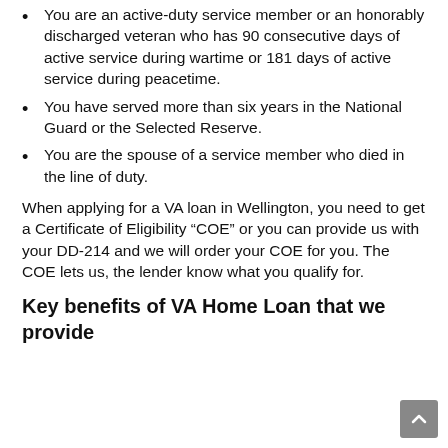You are an active-duty service member or an honorably discharged veteran who has 90 consecutive days of active service during wartime or 181 days of active service during peacetime.
You have served more than six years in the National Guard or the Selected Reserve.
You are the spouse of a service member who died in the line of duty.
When applying for a VA loan in Wellington, you need to get a Certificate of Eligibility “COE” or you can provide us with your DD-214 and we will order your COE for you. The COE lets us, the lender know what you qualify for.
Key benefits of VA Home Loan that we provide